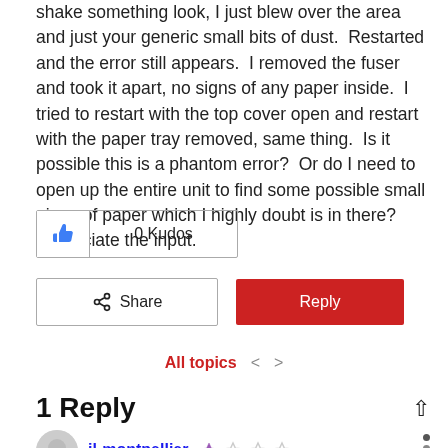shake something look, I just blew over the area and just your generic small bits of dust.  Restarted and the error still appears.  I removed the fuser and took it apart, no signs of any paper inside.  I tried to restart with the top cover open and restart with the paper tray removed, same thing.  Is it possible this is a phantom error?  Or do I need to open up the entire unit to find some possible small piece of paper which I highly doubt is in there?  Appreciate the input.
[Figure (other): Kudos button showing thumbs up icon and '0 Kudos' label]
[Figure (other): Share button with share icon and Reply button in red]
All topics < >
1 Reply
jl-montpellier (username with star rating)